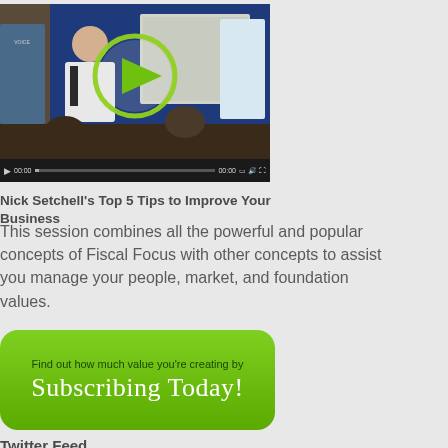[Figure (screenshot): Video thumbnail showing a presenter in a conference/seminar setting with a play button overlay. Video player controls visible at bottom.]
Nick Setchell's Top 5 Tips to Improve Your Business
This session combines all the powerful and popular concepts of Fiscal Focus with other concepts to assist you manage your people, market, and foundation values.
[Figure (illustration): Green rounded rectangle subscribe button with text 'Find out how much value you’re creating by Subscribing Today!']
Twitter Feed